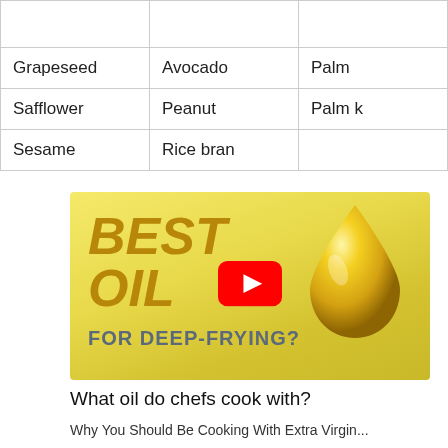|  |  |  |
| Grapeseed | Avocado | Palm |
| Safflower | Peanut | Palm k |
| Sesame | Rice bran |  |
[Figure (screenshot): YouTube video thumbnail for 'Best Oil for Deep-Frying?' showing bold gold text 'BEST OIL' in italic, a golden oil drop illustration on the right, a red YouTube play button in the center, and the text 'FOR DEEP-FRYING?' in dark gray bold at the bottom.]
What oil do chefs cook with?
Why You Should Be Cooking With Extra Virgin...